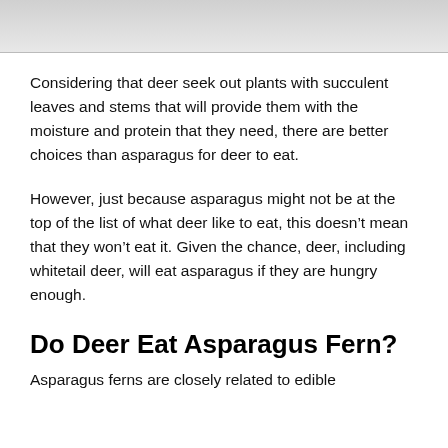[Figure (photo): Top portion of an image, mostly light gray/white with a slight curve visible at top — appears to be a cropped animal or plant photo]
Considering that deer seek out plants with succulent leaves and stems that will provide them with the moisture and protein that they need, there are better choices than asparagus for deer to eat.
However, just because asparagus might not be at the top of the list of what deer like to eat, this doesn't mean that they won't eat it. Given the chance, deer, including whitetail deer, will eat asparagus if they are hungry enough.
Do Deer Eat Asparagus Fern?
Asparagus ferns are closely related to edible